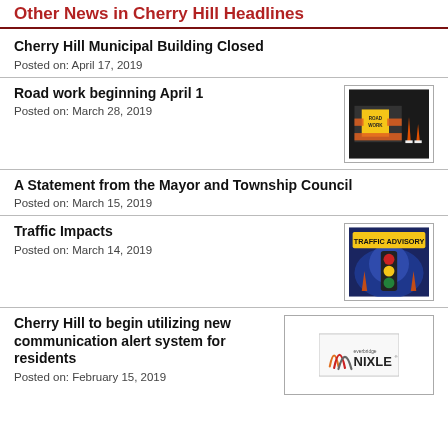Other News in Cherry Hill Headlines
Cherry Hill Municipal Building Closed
Posted on: April 17, 2019
Road work beginning April 1
Posted on: March 28, 2019
[Figure (photo): Road Work sign image]
A Statement from the Mayor and Township Council
Posted on: March 15, 2019
Traffic Impacts
Posted on: March 14, 2019
[Figure (photo): Traffic Advisory image with traffic light]
Cherry Hill to begin utilizing new communication alert system for residents
Posted on: February 15, 2019
[Figure (logo): Everbridge NIXLE logo]